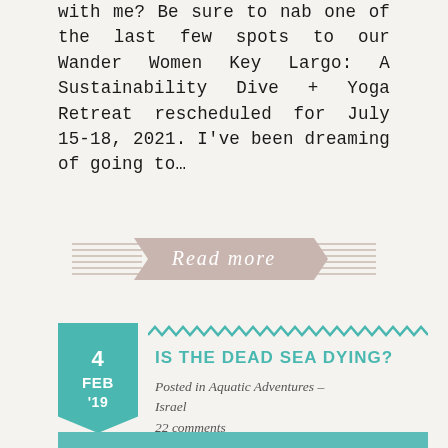with me? Be sure to nab one of the last few spots to our Wander Women Key Largo: A Sustainability Dive + Yoga Retreat rescheduled for July 15-18, 2021. I've been dreaming of going to…
[Figure (illustration): Decorative ribbon-style 'Read more' button with teal/mauve colored banner and horizontal lines on either side]
4 FEB '19
IS THE DEAD SEA DYING?
Posted in Aquatic Adventures – Israel
22 comments
[Figure (photo): Photo of turquoise-green water (Dead Sea) with feet/legs of a person floating, viewed from above]